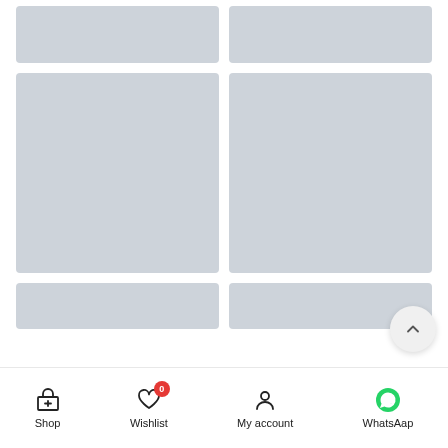[Figure (screenshot): Mobile e-commerce app screenshot showing a product grid with placeholder gray cards in a 2-column layout. Three rows visible: short cards at top, tall cards in middle, partial cards at bottom. A scroll-to-top button is visible at middle right. Bottom navigation bar shows Shop, Wishlist (with badge 0), My account, and WhatsAap icons.]